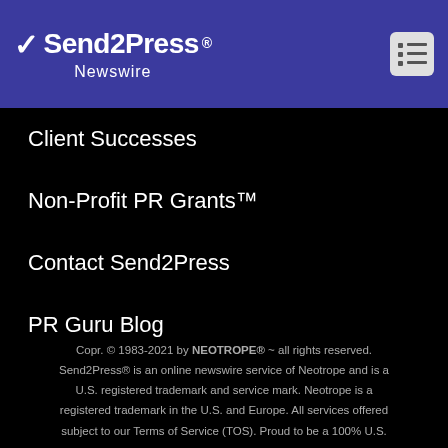[Figure (logo): Send2Press Newswire logo with lightning bolt on purple/indigo header bar]
Client Successes
Non-Profit PR Grants™
Contact Send2Press
PR Guru Blog
Copr. © 1983-2021 by NEOTROPE® ~ all rights reserved. Send2Press® is an online newswire service of Neotrope and is a U.S. registered trademark and service mark. Neotrope is a registered trademark in the U.S. and Europe. All services offered subject to our Terms of Service (TOS). Proud to be a 100% U.S. company.